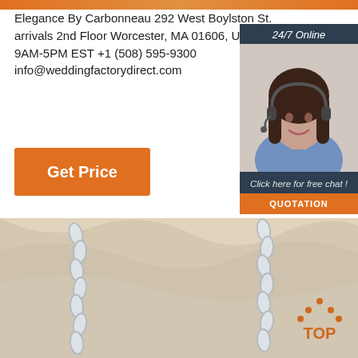Elegance By Carbonneau 292 West Boylston St. arrivals 2nd Floor Worcester, MA 01606, USA Mon-Fri 9AM-5PM EST +1 (508) 595-9300 info@weddingfactorydirect.com
[Figure (other): Orange 'Get Price' button]
[Figure (other): Customer service widget with '24/7 Online' header, photo of woman with headset, 'Click here for free chat!' text, and orange 'QUOTATION' button]
[Figure (photo): Beige/cream fabric with silver chain links laid across it, bottom portion of page]
[Figure (other): Orange 'TOP' logo with dots above in bottom right corner]